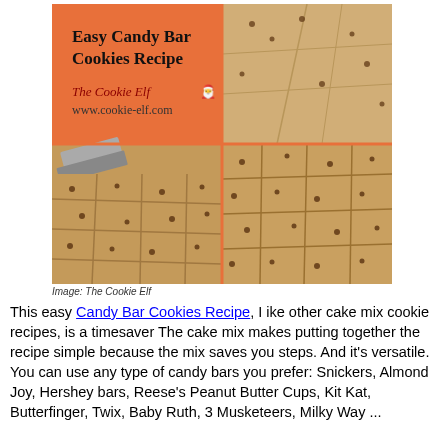[Figure (photo): Composite image showing a 2x2 grid of cookie bar photos with an orange background panel on the left showing the title 'Easy Candy Bar Cookies Recipe' and 'The Cookie Elf www.cookie-elf.com' branding, and three photos of candy bar cookie bars being cut and displayed.]
Image: The Cookie Elf
This easy Candy Bar Cookies Recipe, I ike other cake mix cookie recipes, is a timesaver The cake mix makes putting together the recipe simple because the mix saves you steps. And it's versatile. You can use any type of candy bars you prefer: Snickers, Almond Joy, Hershey bars, Reese's Peanut Butter Cups, Kit Kat, Butterfinger, Twix, Baby Ruth, 3 Musketeers, Milky Way ...